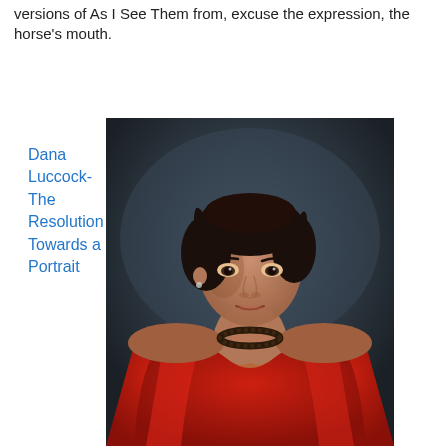versions of As I See Them from, excuse the expression, the horse's mouth.
Dana Luccock-The Resolution Towards a Portrait
[Figure (photo): Portrait photograph of a woman with dark hair wearing a red wrap/coat and a dark beaded necklace, against a dark gray background. She is gazing directly at the camera with a serious expression.]